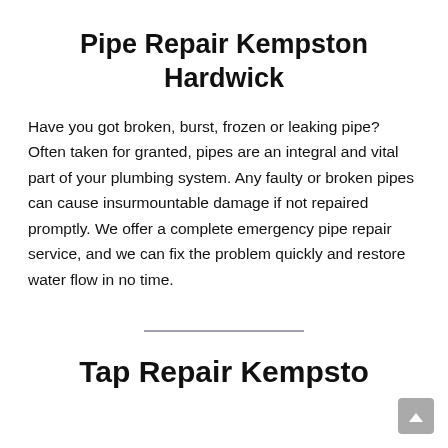Pipe Repair Kempston Hardwick
Have you got broken, burst, frozen or leaking pipe? Often taken for granted, pipes are an integral and vital part of your plumbing system. Any faulty or broken pipes can cause insurmountable damage if not repaired promptly. We offer a complete emergency pipe repair service, and we can fix the problem quickly and restore water flow in no time.
Tap Repair Kempston...